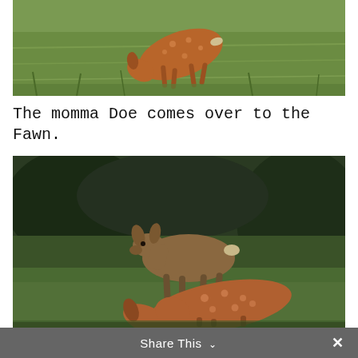[Figure (photo): A fawn with white spots grazing or walking in a grassy field, photographed from above/side angle.]
The momma Doe comes over to the Fawn.
[Figure (photo): A doe (adult female deer) standing in a grassy area with dark trees/shrubs in the background, and a spotted fawn in the foreground grazing with its head down.]
Share This ∨  ✕